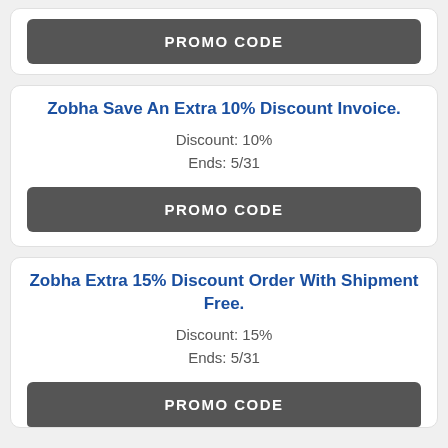PROMO CODE
Zobha Save An Extra 10% Discount Invoice.
Discount: 10%
Ends: 5/31
PROMO CODE
Zobha Extra 15% Discount Order With Shipment Free.
Discount: 15%
Ends: 5/31
PROMO CODE